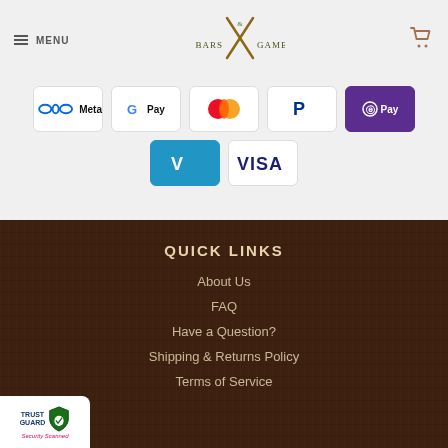MENU | Bars & Games | Cart
[Figure (logo): Payment method icons: Meta, Google Pay, Mastercard, PayPal, Shop Pay, Venmo, Visa]
QUICK LINKS
About Us
FAQ
Have a Question?
Shipping & Returns Policy
Terms of Service
[Figure (logo): Trust Guard Security Scanned badge]